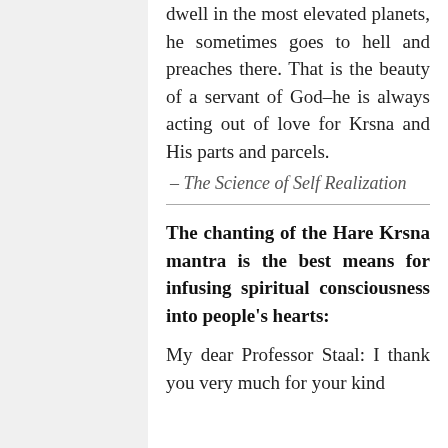dwell in the most elevated planets, he sometimes goes to hell and preaches there. That is the beauty of a servant of God–he is always acting out of love for Krsna and His parts and parcels.
– The Science of Self Realization
The chanting of the Hare Krsna mantra is the best means for infusing spiritual consciousness into people's hearts:
My dear Professor Staal: I thank you very much for your kind